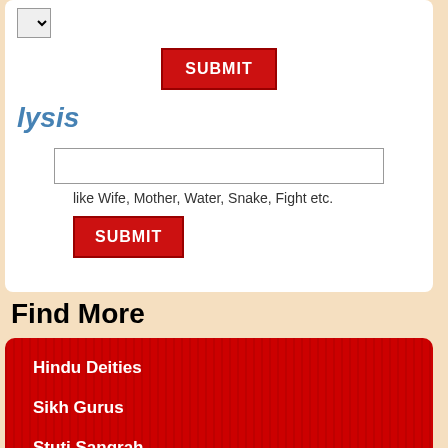[Figure (screenshot): Dropdown select element with chevron arrow on right]
[Figure (screenshot): Red SUBMIT button]
lysis
[Figure (screenshot): Text input field]
like Wife, Mother, Water, Snake, Fight etc.
[Figure (screenshot): Red SUBMIT button]
Find More
Hindu Deities
Sikh Gurus
Stuti Sangrah
Prashnavali
Spiritual Gurus
Forum